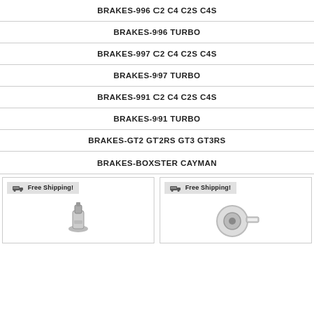BRAKES-996 C2 C4 C2S C4S
BRAKES-996 TURBO
BRAKES-997 C2 C4 C2S C4S
BRAKES-997 TURBO
BRAKES-991 C2 C4 C2S C4S
BRAKES-991 TURBO
BRAKES-GT2 GT2RS GT3 GT3RS
BRAKES-BOXSTER CAYMAN
[Figure (photo): Product card with Free Shipping badge and brake component image (left)]
[Figure (photo): Product card with Free Shipping badge and brake component image (right)]